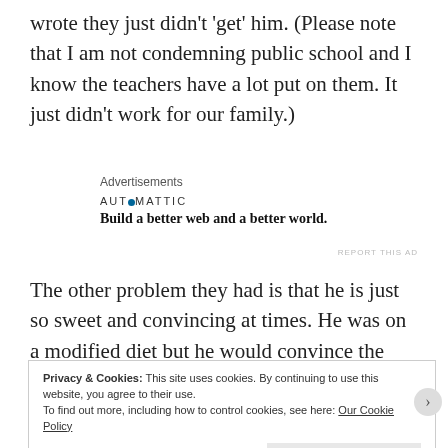wrote they just didn't 'get' him. (Please note that I am not condemning public school and I know the teachers have a lot put on them. It just didn't work for our family.)
Advertisements
AUTOMATTIC
Build a better web and a better world.
REPORT THIS AD
The other problem they had is that he is just so sweet and convincing at times. He was on a modified diet but he would convince the teacher and aides to give him snacks and extras that he was not allowed to have. This resulted in serious issues and he
Privacy & Cookies: This site uses cookies. By continuing to use this website, you agree to their use.
To find out more, including how to control cookies, see here: Our Cookie Policy
Close and accept